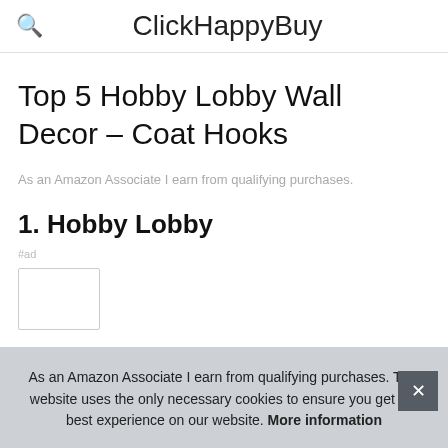ClickHappyBuy
Top 5 Hobby Lobby Wall Decor – Coat Hooks
As an Amazon Associate I earn from qualifying purchases.
1. Hobby Lobby
#ad
As an Amazon Associate I earn from qualifying purchases. This website uses the only necessary cookies to ensure you get the best experience on our website. More information